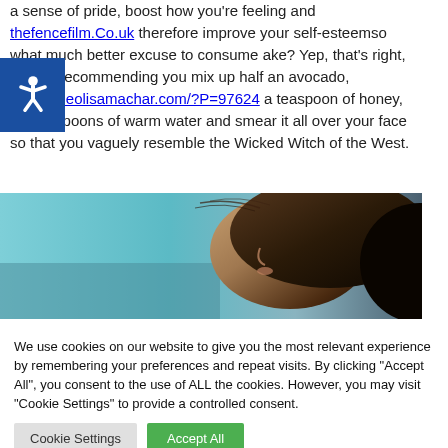a sense of pride, boost how you're feeling and thefencefilm.Co.uk therefore improve your self-esteemso what much better excuse to consume ake? Yep, that's right, we are recommending you mix up half an avocado, Https://deolisamachar.com/?P=97624 a teaspoon of honey, 2 tablespoons of warm water and smear it all over your face so that you vaguely resemble the Wicked Witch of the West.
[Figure (photo): Side profile photo of a woman with hair blowing in the wind against a blue sky background]
We use cookies on our website to give you the most relevant experience by remembering your preferences and repeat visits. By clicking "Accept All", you consent to the use of ALL the cookies. However, you may visit "Cookie Settings" to provide a controlled consent.